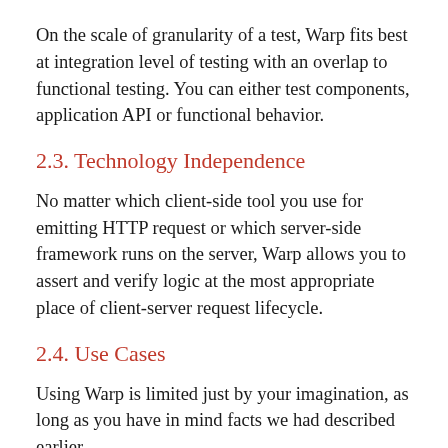On the scale of granularity of a test, Warp fits best at integration level of testing with an overlap to functional testing. You can either test components, application API or functional behavior.
2.3. Technology Independence
No matter which client-side tool you use for emitting HTTP request or which server-side framework runs on the server, Warp allows you to assert and verify logic at the most appropriate place of client-server request lifecycle.
2.4. Use Cases
Using Warp is limited just by your imagination, as long as you have in mind facts we had described earlier.